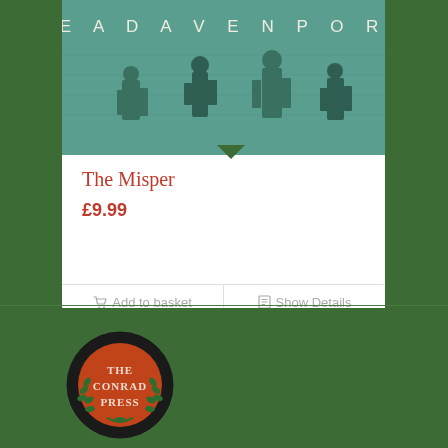[Figure (illustration): Book cover for 'The Misper' by Bea Davenport, teal/green background with author name in spaced letters at top and silhouetted figures at bottom]
The Misper
£9.99
Add to basket
Show Details
[Figure (logo): The Conrad Press circular logo: black circle border with red/terracotta center, green laurel wreath, text THE CONRAD PRESS]